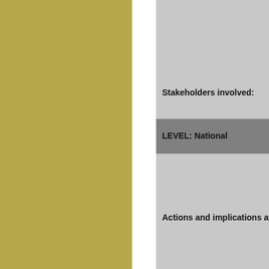|  |  |
| --- | --- |
|  | CO2 c...
outline...
nation... |
| Stakeholders involved: | UN an...
and re... |
| LEVEL: National |  |
| Actions and implications at this level: | The co...
at glob...
conver...
where ...
regulat...
develop...
and im... |
| Stakeholders involved: | Nation...
depart...
univers...
chamb... |
| LEVEL: City |  |
|  | Cities a...
the spe...
level to...
goals a... |